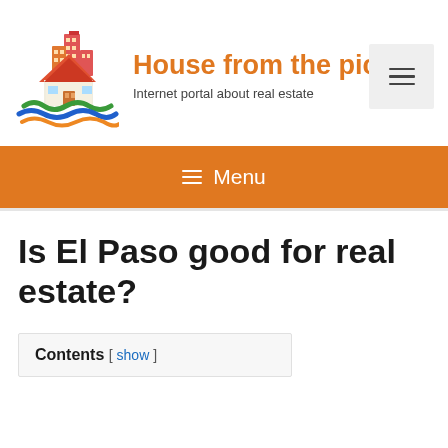[Figure (logo): Real estate website logo showing stylized buildings and a house with colored waves beneath]
House from the pictu… Internet portal about real estate
≡ Menu
Is El Paso good for real estate?
Contents [ show ]